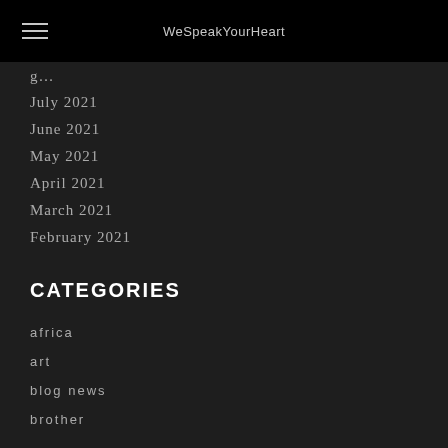WeSpeakYourHeart
July 2021
June 2021
May 2021
April 2021
March 2021
February 2021
CATEGORIES
africa
art
blog news
brother